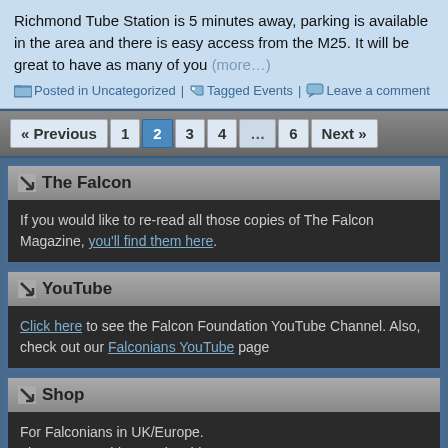Richmond Tube Station is 5 minutes away, parking is available in the area and there is easy access from the M25. It will be great to have as many of you (more...)
Posted in Uncategorized | Tagged Events | Leave a comment
« Previous 1 2 3 4 ... 6 Next »
The Falcon
If you would like to re-read all those copies of The Falcon Magazine, you'll find them here.
YouTube
Click here to see the Falcon Foundation YouTube Channel. Also, check out our Falconians YouTube page
Shop
For Falconians in UK/Europe.
Ties, caps, T-shirts, rugby shirts
GO TO SHOP